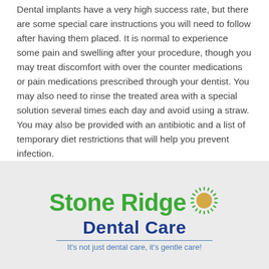Dental implants have a very high success rate, but there are some special care instructions you will need to follow after having them placed. It is normal to experience some pain and swelling after your procedure, though you may treat discomfort with over the counter medications or pain medications prescribed through your dentist. You may also need to rinse the treated area with a special solution several times each day and avoid using a straw. You may also be provided with an antibiotic and a list of temporary diet restrictions that will help you prevent infection.
[Figure (logo): Stone Ridge Dental Care logo with green text 'Stone Ridge', blue text 'Dental Care', a sun icon, and tagline 'It's not just dental care, it's gentle care!']